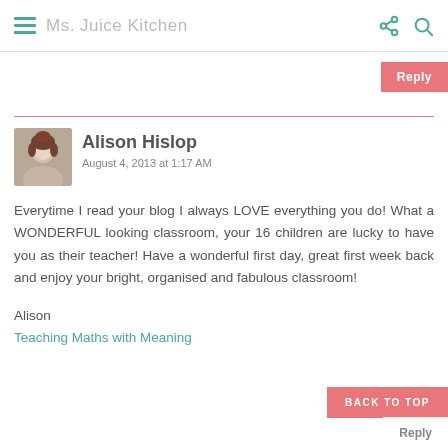Ms. Juice Kitchen
Reply
Alison Hislop
August 4, 2013 at 1:17 AM
Everytime I read your blog I always LOVE everything you do! What a WONDERFUL looking classroom, your 16 children are lucky to have you as their teacher! Have a wonderful first day, great first week back and enjoy your bright, organised and fabulous classroom!
Alison
Teaching Maths with Meaning
BACK TO TOP
Reply